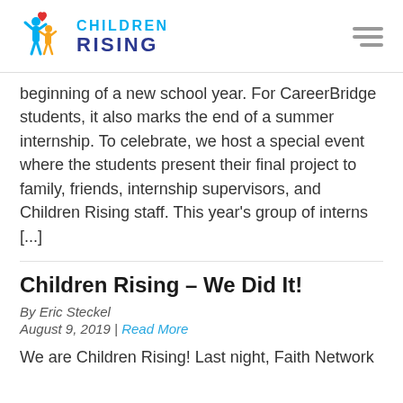[Figure (logo): Children Rising logo with two figures and a heart, with text CHILDREN RISING]
beginning of a new school year. For CareerBridge students, it also marks the end of a summer internship. To celebrate, we host a special event where the students present their final project to family, friends, internship supervisors, and Children Rising staff. This year's group of interns [...]
Children Rising – We Did It!
By Eric Steckel
August 9, 2019 | Read More
We are Children Rising! Last night, Faith Network